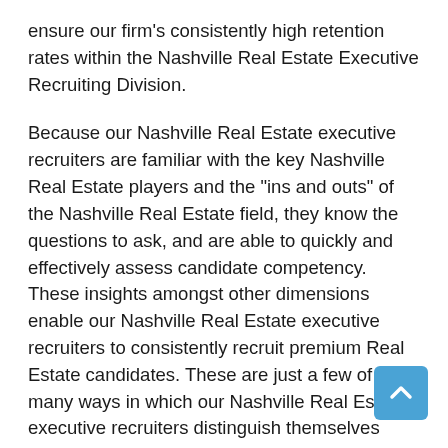ensure our firm's consistently high retention rates within the Nashville Real Estate Executive Recruiting Division.
Because our Nashville Real Estate executive recruiters are familiar with the key Nashville Real Estate players and the "ins and outs" of the Nashville Real Estate field, they know the questions to ask, and are able to quickly and effectively assess candidate competency. These insights amongst other dimensions enable our Nashville Real Estate executive recruiters to consistently recruit premium Real Estate candidates. These are just a few of many ways in which our Nashville Real Estate executive recruiters distinguish themselves from headhunters who are just trying to hastily fulfill an executive job search.
From start-up to Fortune 500 companies, our extensive Nashville Real Estate industry knowledge base and proven track record of accomplishments enables our firm, RSI, to expeditiously and thoroughly tailor and fulfill